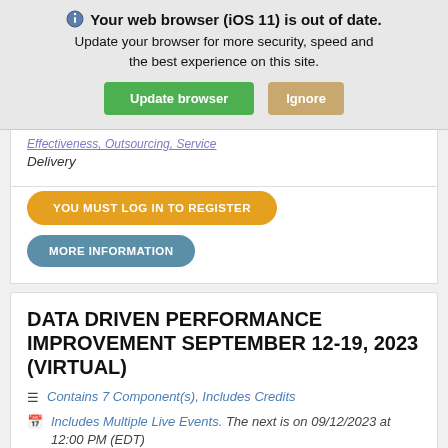Your web browser (iOS 11) is out of date. Update your browser for more security, speed and the best experience on this site.
[Figure (screenshot): Browser update warning banner with 'Update browser' green button and 'Ignore' tan button]
Effectiveness, Outsourcing, Service Delivery
YOU MUST LOG IN TO REGISTER
MORE INFORMATION
DATA DRIVEN PERFORMANCE IMPROVEMENT SEPTEMBER 12-19, 2023 (VIRTUAL)
Contains 7 Component(s), Includes Credits
Includes Multiple Live Events. The next is on 09/12/2023 at 12:00 PM (EDT)
OVERVIEW